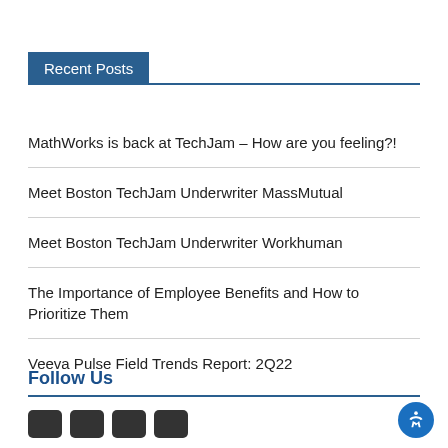Recent Posts
MathWorks is back at TechJam – How are you feeling?!
Meet Boston TechJam Underwriter MassMutual
Meet Boston TechJam Underwriter Workhuman
The Importance of Employee Benefits and How to Prioritize Them
Veeva Pulse Field Trends Report: 2Q22
Follow Us
[Figure (other): Row of social media icon buttons (dark rounded rectangles) at page bottom, plus a blue circular accessibility icon button at bottom right]